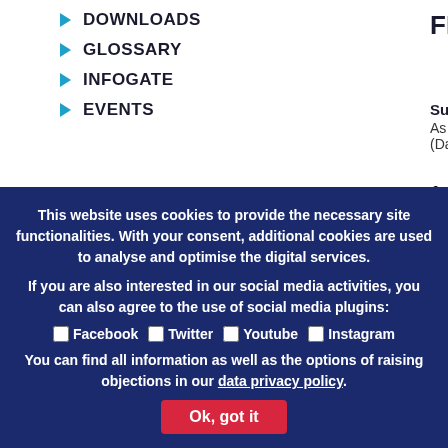DOWNLOADS
GLOSSARY
INFOGATE
EVENTS
DOWNLOADS
SOLAS FAQ, pdf, 95.53 kB
FREQ
Support
As info o (Dated 2
1. Inc
Why do
This website uses cookies to provide the necessary site functionalities. With your consent, additional cookies are used to analyse and optimise the digital services.
If you are also interested in our social media activities, you can also agree to the use of social media plugins:
☐ Facebook  ☐ Twitter  ☐ Youtube  ☐ Instagram
You can find all information as well as the options of raising objections in our data privacy policy.
Ok, got it